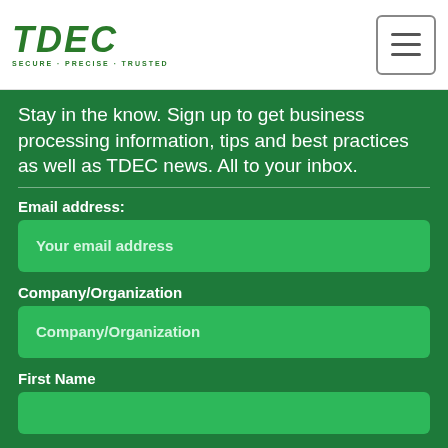[Figure (logo): TDEC logo with tagline SECURE · PRECISE · TRUSTED in green italic text]
Stay in the know. Sign up to get business processing information, tips and best practices as well as TDEC news. All to your inbox.
Email address:
Your email address
Company/Organization
Company/Organization
First Name